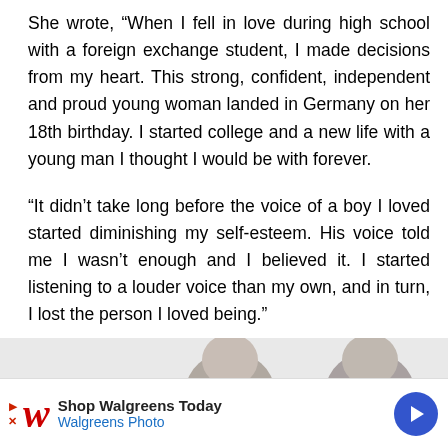She wrote, “When I fell in love during high school with a foreign exchange student, I made decisions from my heart. This strong, confident, independent and proud young woman landed in Germany on her 18th birthday. I started college and a new life with a young man I thought I would be with forever.
“It didn't take long before the voice of a boy I loved started diminishing my self-esteem. His voice told me I wasn't enough and I believed it. I started listening to a louder voice than my own, and in turn, I lost the person I loved being.”
[Figure (photo): Two partial headshots of women with brown hair on a light grey background]
Shop Walgreens Today Walgreens Photo (advertisement)